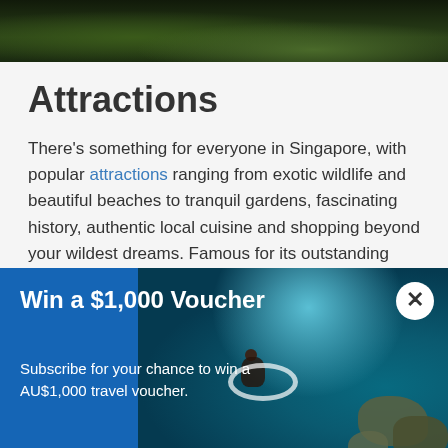[Figure (photo): Aerial night view of Singapore cityscape with green trees and lights]
Attractions
There's something for everyone in Singapore, with popular attractions ranging from exotic wildlife and beautiful beaches to tranquil gardens, fascinating history, authentic local cuisine and shopping beyond your wildest dreams. Famous for its outstanding shopping, bargain hunters can't miss the shopping malls of Orchard Road or the Marina Bay and Bugis.
Some of the country's most beautiful beaches can be found on the
[Figure (infographic): Win a $1,000 Voucher banner overlay with blue background and aerial ocean photo showing a swimmer on a floatie among rocks. Text: Subscribe for your chance to win a AU$1,000 travel voucher.]